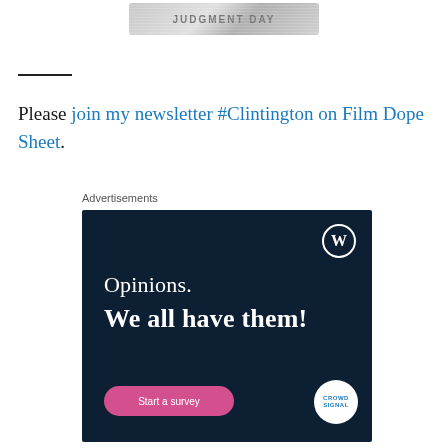[Figure (illustration): Partial movie-related image at top of page showing stylized metallic text or title card]
Please join my newsletter #Clintington on Film Dope Sheet.
Advertisements
[Figure (infographic): Dark navy advertisement for WordPress/CrowdSignal showing 'Opinions. We all have them!' with a 'Start a survey' pink button and logos]